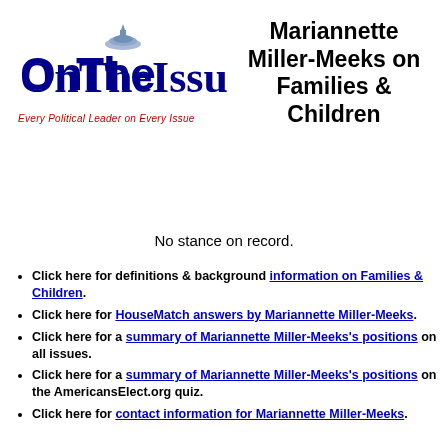[Figure (logo): OnTheIssues logo with capitol dome graphic and tagline 'Every Political Leader on Every Issue']
Mariannette Miller-Meeks on Families & Children
No stance on record.
Click here for definitions & background information on Families & Children.
Click here for HouseMatch answers by Mariannette Miller-Meeks.
Click here for a summary of Mariannette Miller-Meeks's positions on all issues.
Click here for a summary of Mariannette Miller-Meeks's positions on the AmericansElect.org quiz.
Click here for contact information for Mariannette Miller-Meeks.